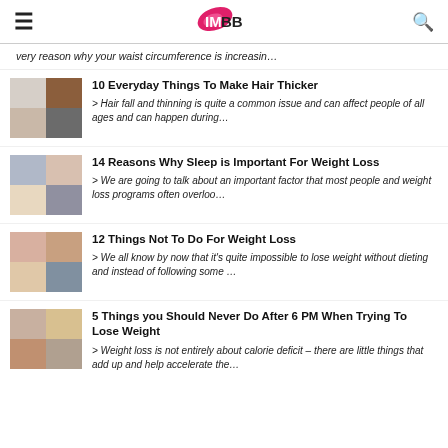IMBB
very reason why your waist circumference is increasin…
10 Everyday Things To Make Hair Thicker
> Hair fall and thinning is quite a common issue and can affect people of all ages and can happen during…
14 Reasons Why Sleep is Important For Weight Loss
> We are going to talk about an important factor that most people and weight loss programs often overloo…
12 Things Not To Do For Weight Loss
> We all know by now that it's quite impossible to lose weight without dieting and instead of following some …
5 Things you Should Never Do After 6 PM When Trying To Lose Weight
> Weight loss is not entirely about calorie deficit – there are little things that add up and help accelerate the…